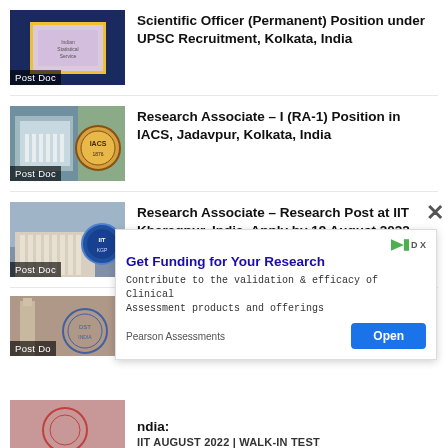[Figure (photo): Thumbnail image with dark blue background and gold-framed logo, labeled Post Doc]
Scientific Officer (Permanent) Position under UPSC Recruitment, Kolkata, India
[Figure (photo): Thumbnail image of IACS building with circular seal logo, labeled Post Doc]
Research Associate – I (RA-1) Position in IACS, Jadavpur, Kolkata, India
[Figure (photo): Thumbnail image of IIT Kharagpur building with blue circular logo, labeled Post Doc]
Research Associate – Research Post at IIT Kharagpur, India, Apply by 19 August 2022
[Figure (photo): Partial thumbnail of tower/building with circular seal, labeled Post Do(c)]
Research Associate Position on a
[Figure (photo): Partial thumbnail at bottom of page]
ndia:
IIT AUGUST 2022 | Walk-in Test
Get Funding for Your Research
Contribute to the validation & efficacy of Clinical Assessment products and offerings
Pearson Assessments